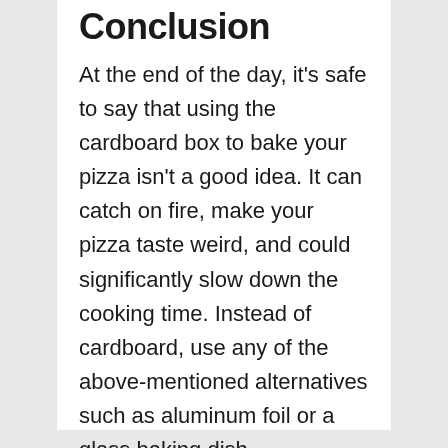Conclusion
At the end of the day, it's safe to say that using the cardboard box to bake your pizza isn't a good idea. It can catch on fire, make your pizza taste weird, and could significantly slow down the cooking time. Instead of cardboard, use any of the above-mentioned alternatives such as aluminum foil or a glass baking dish.